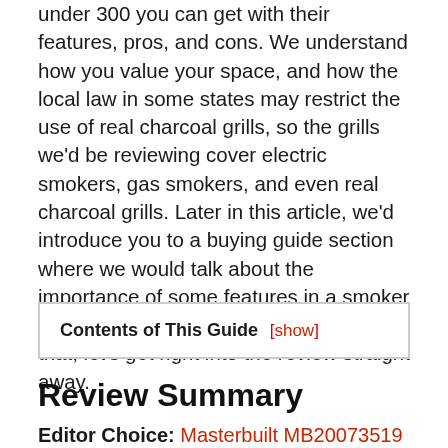under 300 you can get with their features, pros, and cons. We understand how you value your space, and how the local law in some states may restrict the use of real charcoal grills, so the grills we'd be reviewing cover electric smokers, gas smokers, and even real charcoal grills. Later in this article, we'd introduce you to a buying guide section where we would talk about the importance of some features in a smoker you should not compromise. After saying that, let's get right into the review straight away.
Contents of This Guide [show]
Review Summary
Editor Choice: Masterbuilit MB20073519